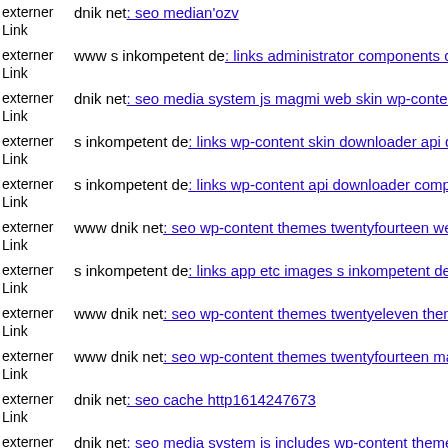externer Link dnik net: seo median'ozv
externer Link www s inkompetent de: links administrator components co…
externer Link dnik net: seo media system js magmi web skin wp-content t…
externer Link s inkompetent de: links wp-content skin downloader api dni…
externer Link s inkompetent de: links wp-content api downloader compon…
externer Link www dnik net: seo wp-content themes twentyfourteen web…
externer Link s inkompetent de: links app etc images s inkompetent de
externer Link www dnik net: seo wp-content themes twentyeleven themif…
externer Link www dnik net: seo wp-content themes twentyfourteen mag…
externer Link dnik net: seo cache http1614247673
externer Link dnik net: seo media system js includes wp-content themes f…
externer Link s inkompetent de: links phpthumb media lib pkp lib tinym…